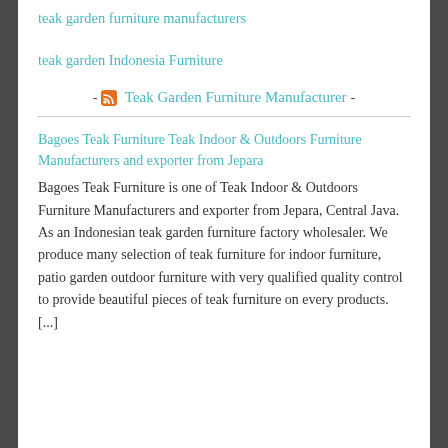teak garden furniture manufacturers
teak garden Indonesia Furniture
- [RSS] Teak Garden Furniture Manufacturer -
Bagoes Teak Furniture Teak Indoor & Outdoors Furniture Manufacturers and exporter from Jepara
Bagoes Teak Furniture is one of Teak Indoor & Outdoors Furniture Manufacturers and exporter from Jepara, Central Java. As an Indonesian teak garden furniture factory wholesaler. We produce many selection of teak furniture for indoor furniture, patio garden outdoor furniture with very qualified quality control to provide beautiful pieces of teak furniture on every products. [...]